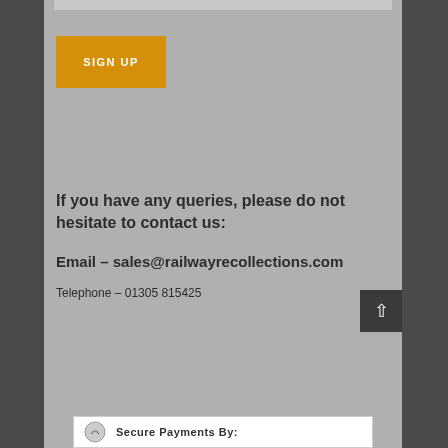[Figure (other): SIGN UP button with orange background and white text]
If you have any queries, please do not hesitate to contact us:
Email – sales@railwayrecollections.com
Telephone – 01305 815425
[Figure (other): Secure Payments By: banner at bottom with logo]